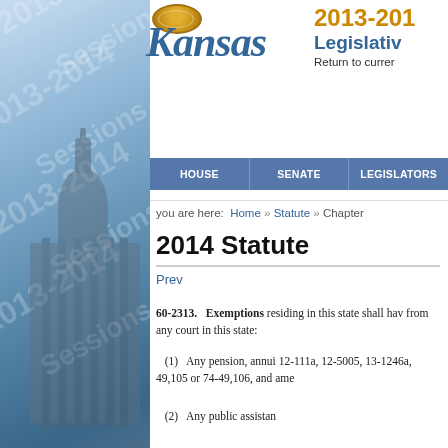[Figure (screenshot): Kansas legislative website screenshot showing 2013-2014 session. Left side has a blurred photo of the Kansas capitol building with '2013-2014 Sessions' watermarks. Right side shows navigation and statute content.]
2013-2014 Legislative — Kansas — Return to current
HOUSE   SENATE   LEGISLATORS
you are here: Home » Statute » Chapter
2014 Statute
Prev
60-2313. Exemptions residing in this state shall have from any court in this state:
(1) Any pension, annui 12-111a, 12-5005, 13-1246a, 49,105 or 74-49,106, and ame
(2) Any public assistan
Find Bill
Find Your Legislator
Legislative Deadlines
Current Happenings
Statute
Legislative Resources
Administrative Services
Division of Post Audit
Information Services
Research Department